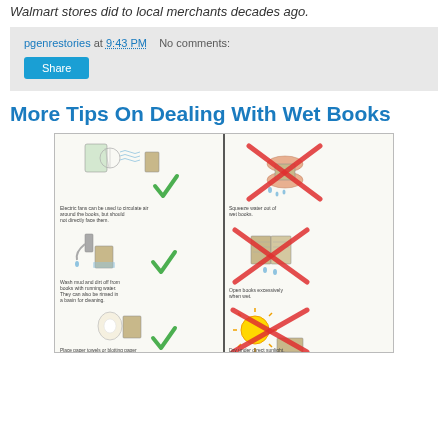Walmart stores did to local merchants decades ago.
pgenrestories at 9:43 PM   No comments:
Share
More Tips On Dealing With Wet Books
[Figure (illustration): Infographic with two columns separated by a vertical line. Left column shows do's (green checkmarks): Electric fans circulating air around books, washing mud/dirt off books with running water, placing paper towels or blotting paper between pages. Right column shows don'ts (red X marks): Squeezing water out of wet books, opening books excessively when wet, drying under direct sunlight.]